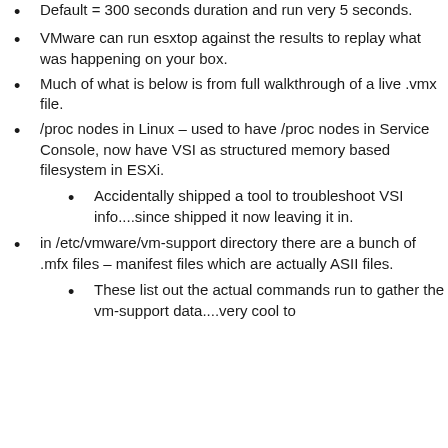Default = 300 seconds duration and run very 5 seconds.
VMware can run esxtop against the results to replay what was happening on your box.
Much of what is below is from full walkthrough of a live .vmx file.
/proc nodes in Linux – used to have /proc nodes in Service Console, now have VSI as structured memory based filesystem in ESXi.
Accidentally shipped a tool to troubleshoot VSI info....since shipped it now leaving it in.
in /etc/vmware/vm-support directory there are a bunch of .mfx files – manifest files which are actually ASII files.
These list out the actual commands run to gather the vm-support data....very cool to